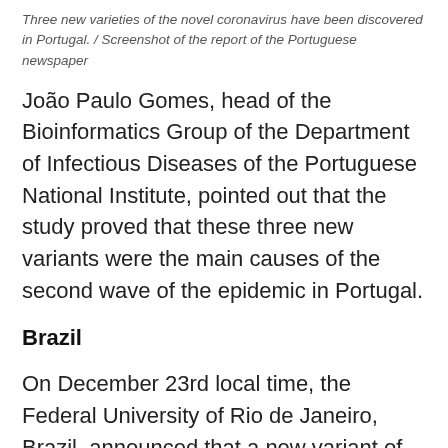Three new varieties of the novel coronavirus have been discovered in Portugal. / Screenshot of the report of the Portuguese newspaper
João Paulo Gomes, head of the Bioinformatics Group of the Department of Infectious Diseases of the Portuguese National Institute, pointed out that the study proved that these three new variants were the main causes of the second wave of the epidemic in Portugal.
Brazil
On December 23rd local time, the Federal University of Rio de Janeiro, Brazil, announced that a new variant of the novel coronavirus had been found in the virus carried by infected patients in Rio de Janeiro.
Brazilian researchers began to sequence the virus at the beginning of the year, analyzing a total of 180 viral genomes.